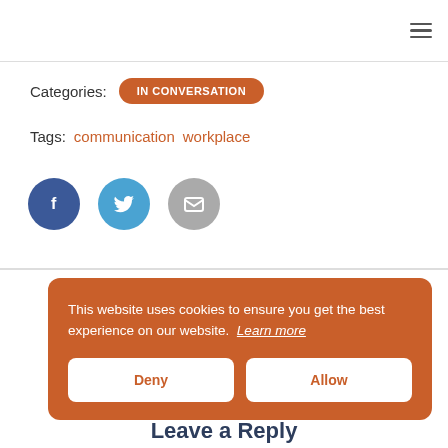☰ (hamburger menu icon)
Categories:  IN CONVERSATION
Tags:  communication  workplace
[Figure (illustration): Three circular social sharing buttons: Facebook (dark blue with 'f'), Twitter (light blue with bird), Email (grey with envelope icon)]
This website uses cookies to ensure you get the best experience on our website.  Learn more
Deny
Allow
Leave a Reply